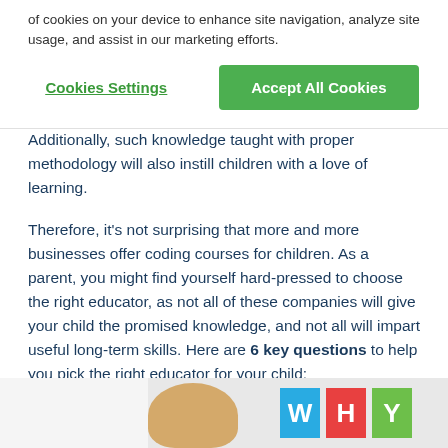of cookies on your device to enhance site navigation, analyze site usage, and assist in our marketing efforts.
Cookies Settings
Accept All Cookies
Additionally, such knowledge taught with proper methodology will also instill children with a love of learning.
Therefore, it's not surprising that more and more businesses offer coding courses for children. As a parent, you might find yourself hard-pressed to choose the right educator, as not all of these companies will give your child the promised knowledge, and not all will impart useful long-term skills. Here are 6 key questions to help you pick the right educator for your child:
[Figure (photo): Child with colorful letter blocks spelling WHY in blue, red, and green]